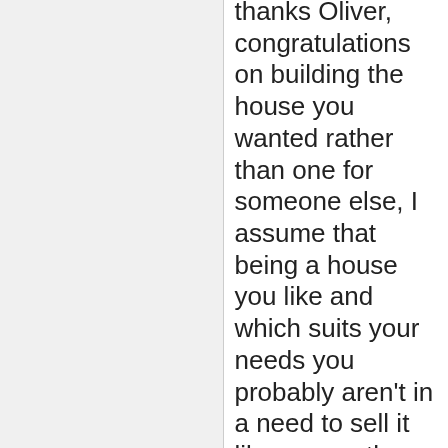thanks Oliver, congratulations on building the house you wanted rather than one for someone else, I assume that being a house you like and which suits your needs you probably aren't in a need to sell it like every other property owner in New Zealand anyway, so the